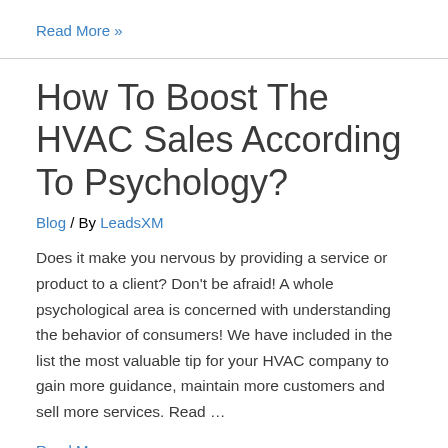Read More »
How To Boost The HVAC Sales According To Psychology?
Blog / By LeadsXM
Does it make you nervous by providing a service or product to a client? Don't be afraid! A whole psychological area is concerned with understanding the behavior of consumers! We have included in the list the most valuable tip for your HVAC company to gain more guidance, maintain more customers and sell more services. Read …
Read More »